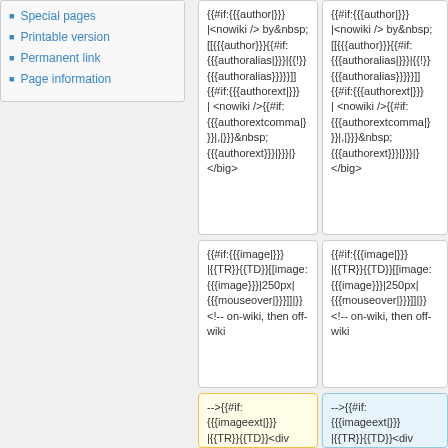Special pages
Printable version
Permanent link
Page information
{{#if:{{{author|}}}|
<nowiki /> by&nbsp;
[[{{{author}}}{{#if:
{{{authoralias|}}}|{{!}}
{{{authoralias}}}}}]]
{{#if:{{{authorext|}}}
| <nowiki />{{#if:
{{{authorextcomma|}}
}}|,|}}}&nbsp;
{{{authorext}}}|}}}|}
</big>
{{#if:{{{author|}}}|
<nowiki /> by&nbsp;
[[{{{author}}}{{#if:
{{{authoralias|}}}|{{!}}
{{{authoralias}}}}}]]
{{#if:{{{authorext|}}}
| <nowiki />{{#if:
{{{authorextcomma|}}
}}|,|}}}&nbsp;
{{{authorext}}}|}}}|}
</big>
{{#if:{{{image|}}}|
{{TR}}{{TD}}[[image:
{{{image}}}|250px|
{{{mouseover|}}}]]|}}
<!-- on-wiki, then off-wiki
{{#if:{{{image|}}}|
{{TR}}{{TD}}[[image:
{{{image}}}|250px|
{{{mouseover|}}}]]|}}
<!-- on-wiki, then off-wiki
-->{{#if:
{{{imageext|}}}
{{TR}}{{TD}}<div
style="text-align:
center"><span
class="plainlinks"
{{#if:
-->{{#if:
{{{imageext|}}}
{{TR}}{{TD}}<div
style="text-align:
center"><span
class="plainlinks"
{{#if: